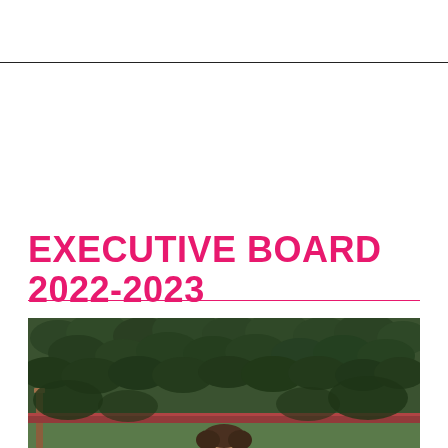EXECUTIVE BOARD 2022-2023
[Figure (photo): Outdoor photo showing a person partially visible at the bottom, with a dark leafy hedge or bush in the background and wooden fence posts visible]